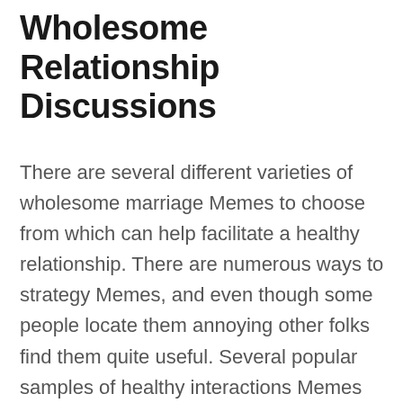Wholesome Relationship Discussions
There are several different varieties of wholesome marriage Memes to choose from which can help facilitate a healthy relationship. There are numerous ways to strategy Memes, and even though some people locate them annoying other folks find them quite useful. Several popular samples of healthy interactions Memes are things like “It’s Only Natural”, and “HDTV”. The first of these, “It’s Only Natural” is a popular means for people to inform each other that they can aren't basically seeing the actual person on the other end within the conversation, which is very helpful within a work environment environment, where it could be easy to remove touch with real life and keep things too intellectual for the sake of keeping away from having to deal with real people. It also helps one to prevent a